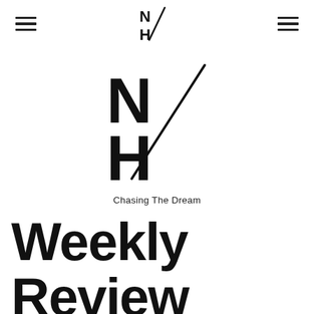N/H logo with hamburger menus on both sides
[Figure (logo): N/H logo with diagonal slash — large centered version with tagline 'Chasing The Dream']
Chasing The Dream
Weekly Review 14th 20th May